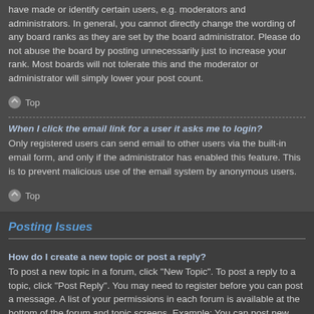have made or identify certain users, e.g. moderators and administrators. In general, you cannot directly change the wording of any board ranks as they are set by the board administrator. Please do not abuse the board by posting unnecessarily just to increase your rank. Most boards will not tolerate this and the moderator or administrator will simply lower your post count.
Top
When I click the email link for a user it asks me to login?
Only registered users can send email to other users via the built-in email form, and only if the administrator has enabled this feature. This is to prevent malicious use of the email system by anonymous users.
Top
Posting Issues
How do I create a new topic or post a reply?
To post a new topic in a forum, click "New Topic". To post a reply to a topic, click "Post Reply". You may need to register before you can post a message. A list of your permissions in each forum is available at the bottom of the forum and topic screens. Example: You can post new topics, You can post attachments, etc.
Top
How do I edit or delete a post?